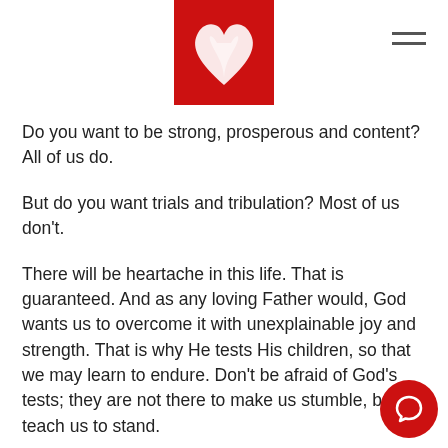[Figure (logo): Red square logo with white stylized heart/flame design]
Do you want to be strong, prosperous and content? All of us do.
But do you want trials and tribulation? Most of us don't.
There will be heartache in this life. That is guaranteed. And as any loving Father would, God wants us to overcome it with unexplainable joy and strength. That is why He tests His children, so that we may learn to endure. Don't be afraid of God's tests; they are not there to make us stumble, but to teach us to stand.